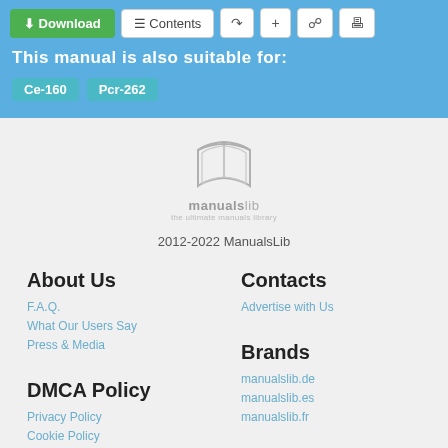Download | Contents | Share | Add | Bookmark | Print
This manual is also suitable for:
Ce-160  Pcr-262
[Figure (logo): ManualsLib open book logo with text 'manualslib the ultimate manuals library']
2012-2022 ManualsLib
About Us
F.A.Q.
What Our Users Say
Press & Media
Contacts
Advertise with Us
DMCA Policy
Privacy Policy
Cookie Policy
Terms of Use
Brands
manualslib.de
manualslib.es
manualslib.fr